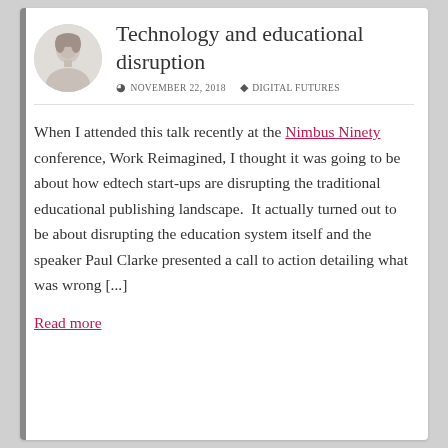Technology and educational disruption
NOVEMBER 22, 2018   DIGITAL FUTURES
When I attended this talk recently at the Nimbus Ninety conference, Work Reimagined, I thought it was going to be about how edtech start-ups are disrupting the traditional educational publishing landscape.  It actually turned out to be about disrupting the education system itself and the speaker Paul Clarke presented a call to action detailing what was wrong [...]
Read more